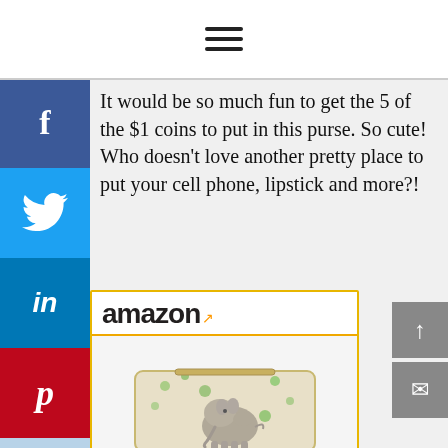hamburger menu icon
It would be so much fun to get the 5 of the $1 coins to put in this purse. So cute! Who doesn't love another pretty place to put your cell phone, lipstick and more?!
[Figure (screenshot): Amazon product advertisement widget showing an elephant-print cosmetic purse/pouch. Title: Women and Girls Cute... Price: $6.99 with Prime badge. Shop now button at bottom.]
[Figure (infographic): Social media share sidebar with Facebook (f), Twitter (bird), LinkedIn (in), Pinterest (p), Reddit (alien), and Mix (m) buttons stacked vertically on left side. Left arrow navigation button. Right side has up-arrow and envelope buttons.]